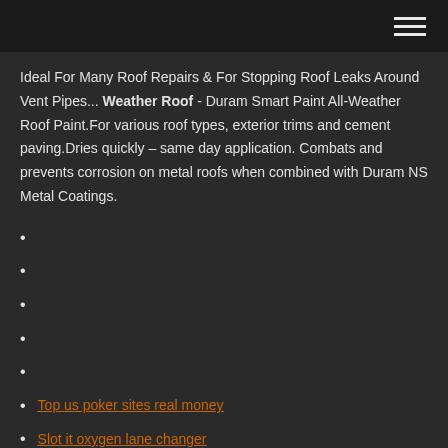Ideal For Many Roof Repairs & For Stopping Roof Leaks Around Vent Pipes... Weather Roof - Duram Smart Paint All-Weather Roof Paint.For various roof types, exterior trims and cement paving.Dries quickly – same day application. Combats and prevents corrosion on metal roofs when combined with Duram NS Metal Coatings.
Top us poker sites real money
Slot it oxygen lane changer
Sale slot via ceciling rome